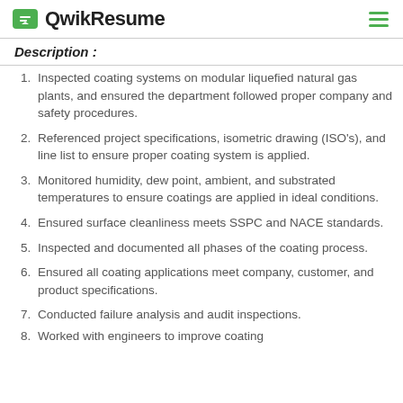QwikResume
Description :
Inspected coating systems on modular liquefied natural gas plants, and ensured the department followed proper company and safety procedures.
Referenced project specifications, isometric drawing (ISO's), and line list to ensure proper coating system is applied.
Monitored humidity, dew point, ambient, and substrated temperatures to ensure coatings are applied in ideal conditions.
Ensured surface cleanliness meets SSPC and NACE standards.
Inspected and documented all phases of the coating process.
Ensured all coating applications meet company, customer, and product specifications.
Conducted failure analysis and audit inspections.
Worked with engineers to improve coating...